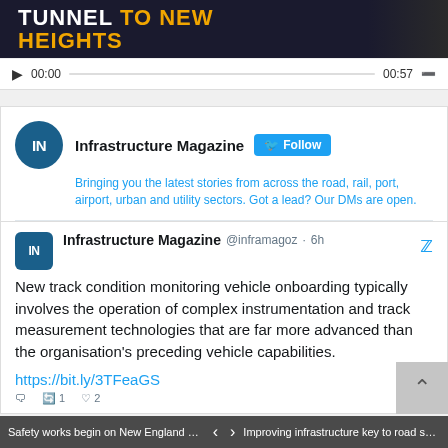[Figure (screenshot): Video player showing tunnel video thumbnail with text 'TUNNEL TO NEW HEIGHTS' and playback controls showing 00:00 and 00:57]
[Figure (screenshot): Twitter/X profile card for Infrastructure Magazine with Follow button and bio text]
Bringing you the latest stories from across the road, rail, port, airport, urban and utility sectors. Got a lead? Our DMs are open.
Infrastructure Magazine @inframagoz · 6h
New track condition monitoring vehicle onboarding typically involves the operation of complex instrumentation and track measurement technologies that are far more advanced than the organisation's preceding vehicle capabilities.
https://bit.ly/3TFeaGS
Safety works begin on New England High... < > Improving infrastructure key to road safety